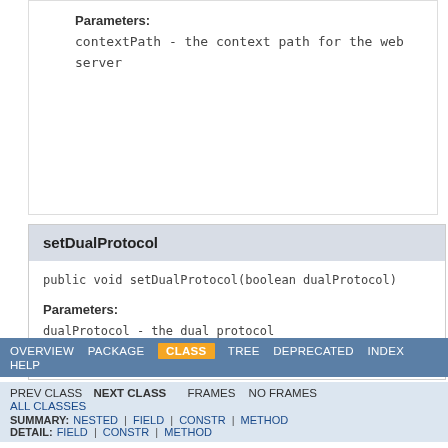Parameters:
contextPath - the context path for the web server
setDualProtocol
public void setDualProtocol(boolean dualProtocol)
Parameters:
dualProtocol - the dual protocol (http/https) configuration
OVERVIEW  PACKAGE  CLASS  TREE  DEPRECATED  INDEX  HELP  PREV CLASS  NEXT CLASS  FRAMES  NO FRAMES  ALL CLASSES  SUMMARY: NESTED | FIELD | CONSTR | METHOD  DETAIL: FIELD | CONSTR | METHOD